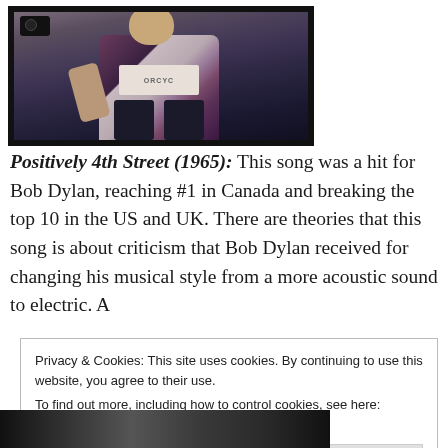[Figure (photo): A person seated wearing a floral jacket and a t-shirt with partial text visible (ORCYC), holding something in their hand. A camera is visible in the upper-left portion of the frame. The image is framed with a thick dark border.]
Positively 4th Street (1965): This song was a hit for Bob Dylan, reaching #1 in Canada and breaking the top 10 in the US and UK. There are theories that this song is about criticism that Bob Dylan received for changing his musical style from a more acoustic sound to electric. A
Privacy & Cookies: This site uses cookies. By continuing to use this website, you agree to their use.
To find out more, including how to control cookies, see here: Cookie Policy
[Figure (photo): Partial photo strip at the bottom of the page showing a black and white image, partially obscured.]